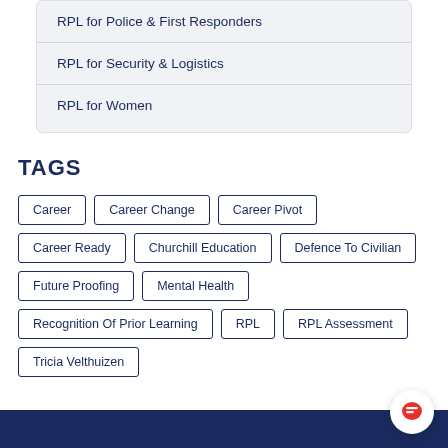RPL for Police & First Responders
RPL for Security & Logistics
RPL for Women
TAGS
Career
Career Change
Career Pivot
Career Ready
Churchill Education
Defence To Civilian
Future Proofing
Mental Health
Recognition Of Prior Learning
RPL
RPL Assessment
Tricia Velthuizen